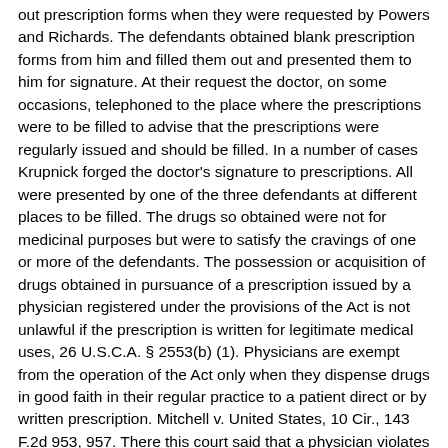out prescription forms when they were requested by Powers and Richards. The defendants obtained blank prescription forms from him and filled them out and presented them to him for signature. At their request the doctor, on some occasions, telephoned to the place where the prescriptions were to be filled to advise that the prescriptions were regularly issued and should be filled. In a number of cases Krupnick forged the doctor's signature to prescriptions. All were presented by one of the three defendants at different places to be filled. The drugs so obtained were not for medicinal purposes but were to satisfy the cravings of one or more of the defendants. The possession or acquisition of drugs obtained in pursuance of a prescription issued by a physician registered under the provisions of the Act is not unlawful if the prescription is written for legitimate medical uses, 26 U.S.C.A. § 2553(b) (1). Physicians are exempt from the operation of the Act only when they dispense drugs in good faith in their regular practice to a patient direct or by written prescription. Mitchell v. United States, 10 Cir., 143 F.2d 953, 957. There this court said that a physician violates the statute if "knowing a person to be an addict and for the purpose of treating him for any other disease, he delivers or dispenses narcotics in amounts greater than is necessary to satisfy the addict's craving if consumed at one time, and intending that he should use the drugs by self-administration over a period of time." See also Webb v. United